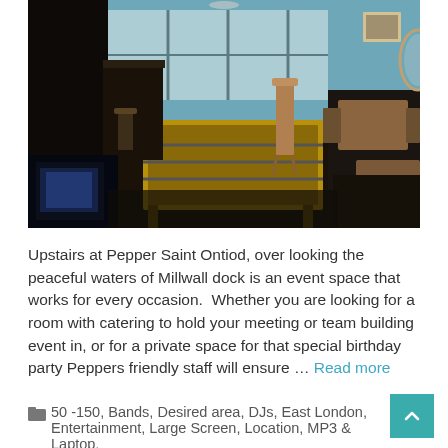[Figure (photo): Interior photo of a bar/event space showing foosball table, wooden furniture, dark floors, and blue walls with large windows letting in natural light.]
Upstairs at Pepper Saint Ontiod, over looking the peaceful waters of Millwall dock is an event space that works for every occasion.  Whether you are looking for a room with catering to hold your meeting or team building event in, or for a private space for that special birthday party Peppers friendly staff will ensure ... Read more
50 -150, Bands, Desired area, DJs, East London, Entertainment, Large Screen, Location, MP3 & Laptop,